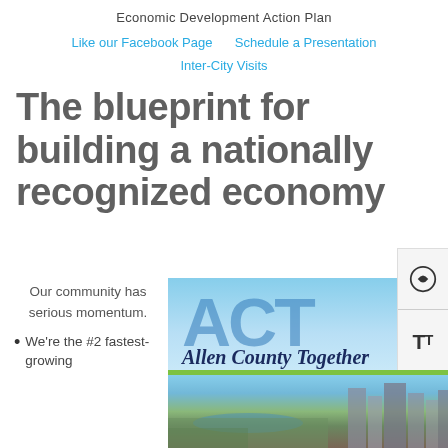Economic Development Action Plan
Like our Facebook Page   Schedule a Presentation
Inter-City Visits
The blueprint for building a nationally recognized economy
Our community has serious momentum.
We're the #2 fastest-growing
[Figure (photo): ACT Allen County Together logo banner above an aerial cityscape photo of Fort Wayne, Indiana]